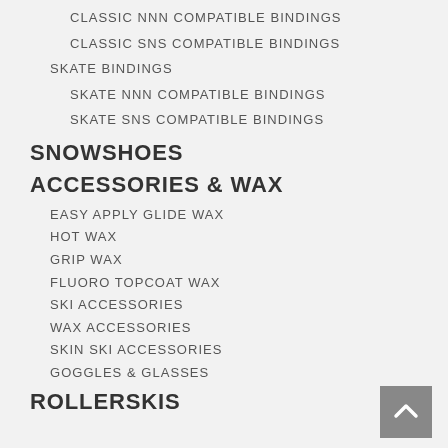CLASSIC NNN COMPATIBLE BINDINGS
CLASSIC SNS COMPATIBLE BINDINGS
SKATE BINDINGS
SKATE NNN COMPATIBLE BINDINGS
SKATE SNS COMPATIBLE BINDINGS
SNOWSHOES
ACCESSORIES & WAX
EASY APPLY GLIDE WAX
HOT WAX
GRIP WAX
FLUORO TOPCOAT WAX
SKI ACCESSORIES
WAX ACCESSORIES
SKIN SKI ACCESSORIES
GOGGLES & GLASSES
ROLLERSKIS